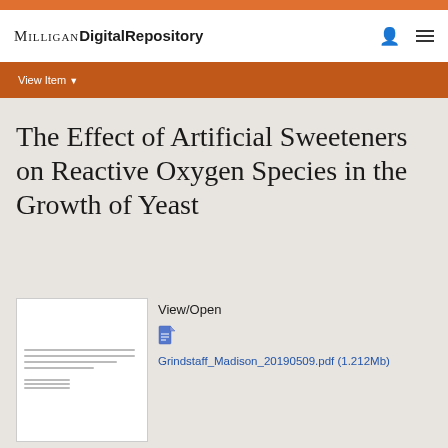Milligan Digital Repository
View Item
The Effect of Artificial Sweeteners on Reactive Oxygen Species in the Growth of Yeast
[Figure (other): Thumbnail preview of a document page with lines of text]
View/Open
Grindstaff_Madison_20190509.pdf (1.212Mb)